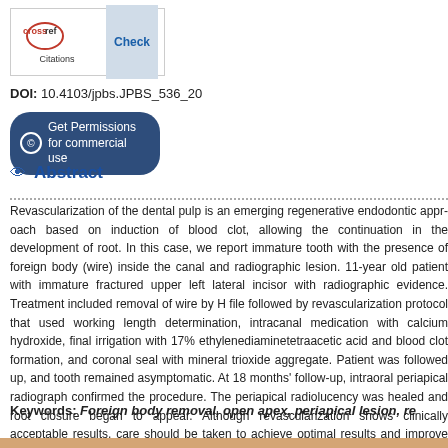[Figure (logo): CrossRef Check Citations logo button with blue Check label]
DOI: 10.4103/jpbs.JPBS_536_20
© Get Permissions for commercial use
Abstract
Revascularization of the dental pulp is an emerging regenerative endodontic approach based on induction of blood clot, allowing the continuation in the development of root. In this case, we report immature tooth with the presence of foreign body (wire) inside the canal and radiographic lesion. 11-year old patient with immature fractured upper left lateral incisor with radiographic evidence. Treatment included removal of wire by H file followed by revascularization protocol that used working length determination, intracanal medication with calcium hydroxide, final irrigation with 17% ethylenediaminetetraacetic acid and blood clot formation, and coronal seal with mineral trioxide aggregate. Patient was followed up, and tooth remained asymptomatic. At 18 months' follow-up, intraoral periapical radiograph confirmed the procedure. The periapical radiolucency was healed and root closure began to appear. Although revascularization shows clinically acceptable results, care should be taken to achieve optimal results and improve long-term efficacy and new approaches.
Keywords: Foreign body removal, open apex, periapical lesion, re...